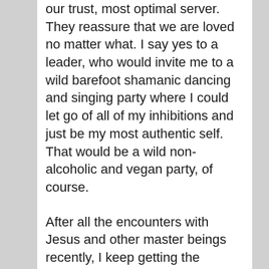our trust, most optimal server. They reassure that we are loved no matter what. I say yes to a leader, who would invite me to a wild barefoot shamanic dancing and singing party where I could let go of all of my inhibitions and just be my most authentic self. That would be a wild non-alcoholic and vegan party, of course.
After all the encounters with Jesus and other master beings recently, I keep getting the comforting message from the Universe that you can proceed with your greatest joy and life purpose here and have the innocence and trust of a child that whatever you need will be provided as and when needed. “Thou shalt not want” doesn’t mean you should have no desires, but that you will never be want…